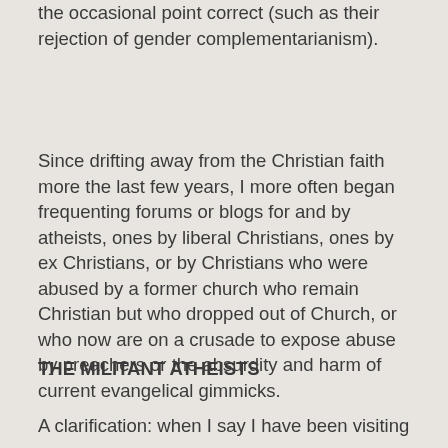the occasional point correct (such as their rejection of gender complementarianism).
Since drifting away from the Christian faith more the last few years, I more often began frequenting forums or blogs for and by atheists, ones by liberal Christians, ones by ex Christians, or by Christians who were abused by a former church who remain Christian but who dropped out of Church, or who now are on a crusade to expose abuse by preachers or the absurdity and harm of current evangelical gimmicks.
THE MILITANT ATHEISTS
A clarification: when I say I have been visiting